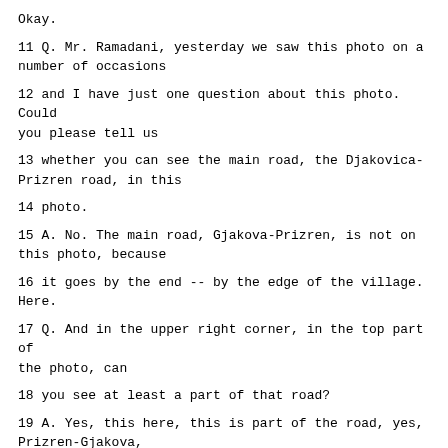Okay.
11 Q. Mr. Ramadani, yesterday we saw this photo on a number of occasions
12 and I have just one question about this photo. Could you please tell us
13 whether you can see the main road, the Djakovica-Prizren road, in this
14 photo.
15 A. No. The main road, Gjakova-Prizren, is not on this photo, because
16 it goes by the end -- by the edge of the village. Here.
17 Q. And in the upper right corner, in the top part of the photo, can
18 you see at least a part of that road?
19 A. Yes, this here, this is part of the road, yes, Prizren-Gjakova,
20 but it's only part of it. It's not very clear from this picture.
21 Q. Can you mark the very top of the photo with a blue marker, the top